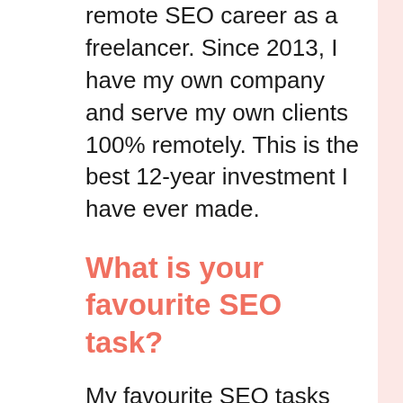remote SEO career as a freelancer. Since 2013, I have my own company and serve my own clients 100% remotely. This is the best 12-year investment I have ever made.
What is your favourite SEO task?
My favourite SEO tasks are keyword research and analysis and SEO strategy design according to the results of my research. I like using free SEO tools like Google Trends and Search Console as well as paid SEO tools like Ahrefs and SEMRush, and then go to Google universal search engine and also note the